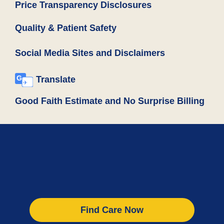Price Transparency Disclosures
Quality & Patient Safety
Social Media Sites and Disclaimers
Translate
Good Faith Estimate and No Surprise Billing
Careers
Contact Us
[Figure (infographic): Social media icons: Facebook, Twitter, Instagram, YouTube, LinkedIn]
Find Care Now